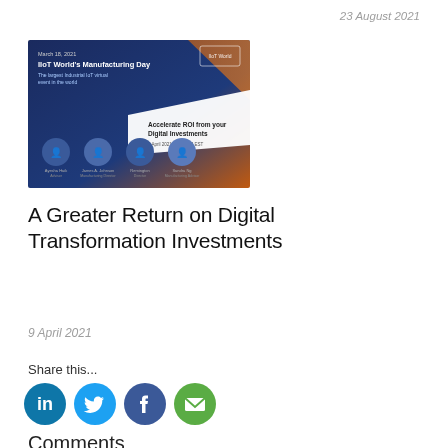23 August 2021
[Figure (screenshot): Thumbnail image for IIoT World's Manufacturing Day webinar: 'Accelerate ROI from your Digital Investments', March 18, 2021. Dark blue/orange background with speaker photos.]
A Greater Return on Digital Transformation Investments
9 April 2021
Share this...
[Figure (infographic): Social share icons: LinkedIn (blue), Twitter (light blue), Facebook (dark blue), Email (green)]
Comments
What do you think?
0 Responses